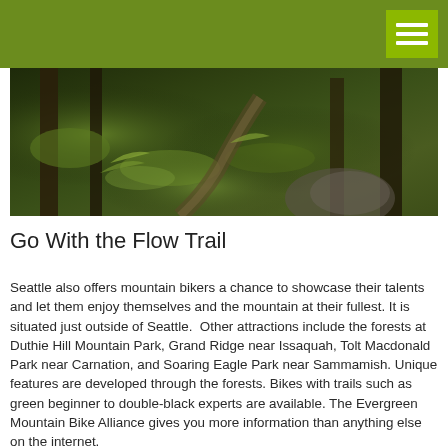[Figure (photo): A forest mountain bike trail with moss-covered trees, ferns, and roots on a dirt path through dense Pacific Northwest woods]
Go With the Flow Trail
Seattle also offers mountain bikers a chance to showcase their talents and let them enjoy themselves and the mountain at their fullest. It is situated just outside of Seattle. Other attractions include the forests at Duthie Hill Mountain Park, Grand Ridge near Issaquah, Tolt Macdonald Park near Carnation, and Soaring Eagle Park near Sammamish. Unique features are developed through the forests. Bikes with trails such as green beginner to double-black experts are available. The Evergreen Mountain Bike Alliance gives you more information than anything else on the internet.